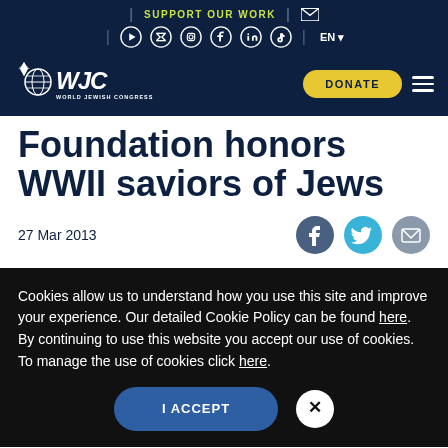SUPPORT OUR WORK | EN
[Figure (logo): World Jewish Congress (WJC) logo with Star of David and globe icon]
Foundation honors WWII saviors of Jews
27 Mar 2013
Cookies allow us to understand how you use this site and improve your experience. Our detailed Cookie Policy can be found here. By continuing to use this website you accept our use of cookies. To manage the use of cookies click here.
I ACCEPT